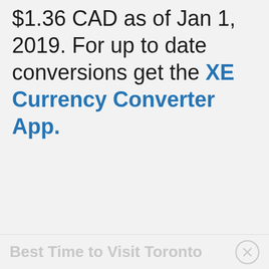$1.36 CAD as of Jan 1, 2019. For up to date conversions get the XE Currency Converter App.
Best Time to Visit Toronto